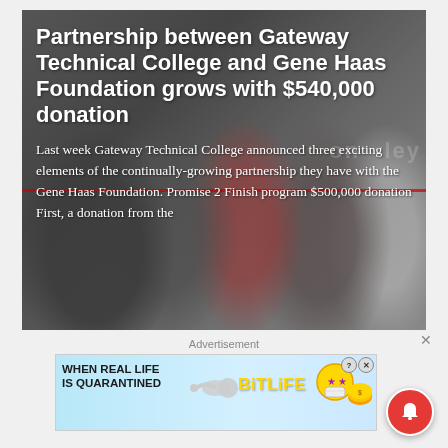[Figure (photo): Group of people at a ribbon-cutting ceremony in front of a sign, overlaid with article headline and text about Gateway Technical College and Gene Haas Foundation partnership]
Partnership between Gateway Technical College and Gene Haas Foundation grows with $540,000 donation
Last week Gateway Technical College announced three exciting elements of the continually-growing partnership they have with the Gene Haas Foundation. Promise 2 Finish program $500,000 donation First, a donation from the
Advertisement
[Figure (screenshot): BitLife advertisement banner: rainbow graphic on left, text 'WHEN REAL LIFE IS QUARANTINED', sperm icon, BitLife logo in gold text, star emoji face and coins on right, with ? and X close buttons]